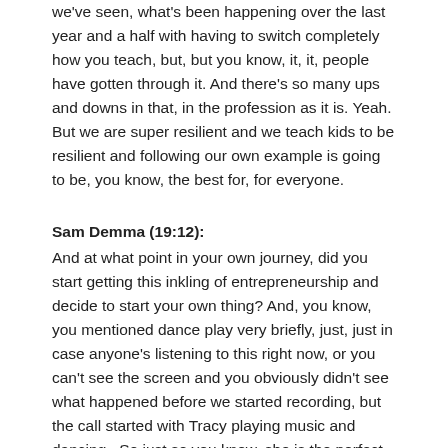we've seen, what's been happening over the last year and a half with having to switch completely how you teach, but, but you know, it, it, people have gotten through it. And there's so many ups and downs in that, in the profession as it is. Yeah. But we are super resilient and we teach kids to be resilient and following our own example is going to be, you know, the best for, for everyone.
Sam Demma (19:12):
And at what point in your own journey, did you start getting this inkling of entrepreneurship and decide to start your own thing? And, you know, you mentioned dance play very briefly, just, just in case anyone's listening to this right now, or you can't see the screen and you obviously didn't see what happened before we started recording, but the call started with Tracy playing music and dancing . So just so you know, she is the perfect person to teach this curriculum. But tell us a